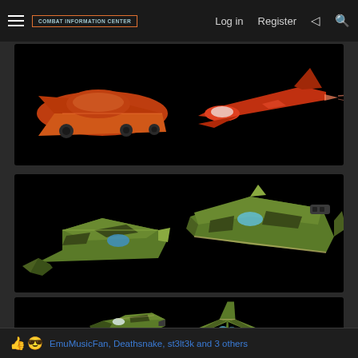COMBAT INFORMATION CENTER | Log in | Register
[Figure (photo): Two red/orange stylized spacecraft or hover vehicles shown from the side on a black background]
[Figure (photo): Two green military-style spaceship models shown from different angles on a black background, plus two more views below]
EmuMusicFan, Deathsnake, st3lt3k and 3 others